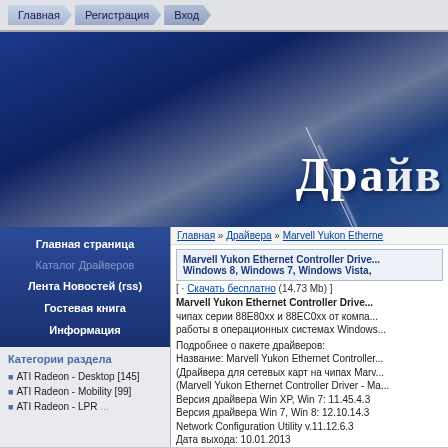Главная | Регистрация | Вход
[Figure (screenshot): Blue gradient hero banner with large white Cyrillic text 'Дра йв' (Drivers) partially visible on the right side, with a diagonal light streak effect]
Главная страница
Каталог Драйверов
Лента Новостей (rss)
Гостевая книга
Информация
Категории раздела
ATI Radeon - Desktop [145]
ATI Radeon - Mobility [99]
Главная » Драйвера » Marvell Yukon Etherne...
Marvell Yukon Ethernet Controller Driver for Windows 8, Windows 7, Windows Vista,
[ · Скачать бесплатно (14.73 Mb) ]
Marvell Yukon Ethernet Controller Driver — чипах серии 88E80xx и 88EC0xx от компании работы в операционных системах Windows
Подробнее о пакете драйверов:
Название: Marvell Yukon Ethernet Controller
(Драйвера для сетевых карт на чипах Marv
(Marvell Yukon Ethernet Controller Driver - Ma
Версия драйвера Win XP, Win 7: 11.45.4.3
Версия драйвера Win 7, Win 8: 12.10.14.3
Network Configuration Utility v.11.12.6.3
Дата выхода: 10.01.2013